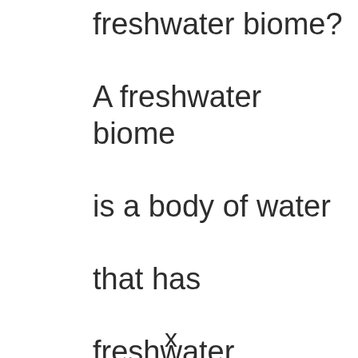freshwater biome? A freshwater biome is a body of water that has freshwater.
x